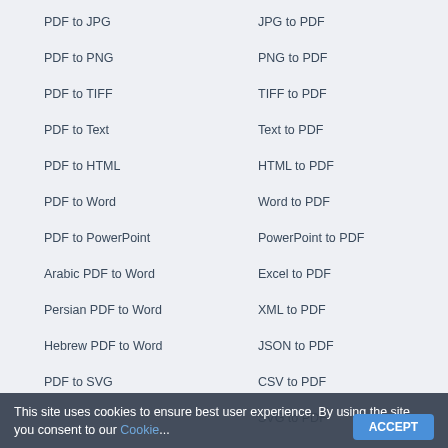PDF to JPG
PDF to PNG
PDF to TIFF
PDF to Text
PDF to HTML
PDF to Word
PDF to PowerPoint
Arabic PDF to Word
Persian PDF to Word
Hebrew PDF to Word
PDF to SVG
JPG to PDF
PNG to PDF
TIFF to PDF
Text to PDF
HTML to PDF
Word to PDF
PowerPoint to PDF
Excel to PDF
XML to PDF
JSON to PDF
CSV to PDF
SVG to PDF
GIF to PDF
WEBP to PDF
BMP to PDF
PS to PDF
EPUB to PDF
This site uses cookies to ensure best user experience. By using the site, you consent to our Cookie...